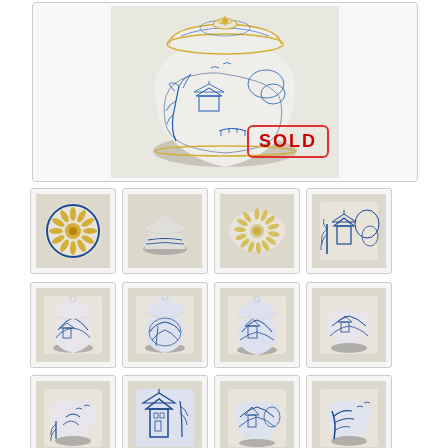[Figure (photo): Main large image of a blue and white Chinese willow pattern ceramic lidded ginger jar with a SOLD overlay stamp in red]
[Figure (photo): Thumbnail 1: top view of lid with daisy/sunflower pattern in gold and blue]
[Figure (photo): Thumbnail 2: side view of lid knob, white ceramic, blue willow detail]
[Figure (photo): Thumbnail 3: close-up top view of lid with sunburst pattern]
[Figure (photo): Thumbnail 4: side detail of blue and white willow pattern with pagoda]
[Figure (photo): Thumbnail 5: full view of small lidded blue and white willow pattern pot]
[Figure (photo): Thumbnail 6: full view of lidded blue and white willow pattern pot, slightly different angle]
[Figure (photo): Thumbnail 7: full view of lidded blue and white willow pattern pot, front view]
[Figure (photo): Thumbnail 8: cup/bowl without lid, blue and white willow pattern]
[Figure (photo): Thumbnail 9: cup/bowl without lid, blue and white willow pattern side view]
[Figure (photo): Thumbnail 10: close-up detail blue and white pagoda/willow scene on bowl]
[Figure (photo): Thumbnail 11: circular bowl with blue willow scene]
[Figure (photo): Thumbnail 12: cup with blue and white willow tree branch detail]